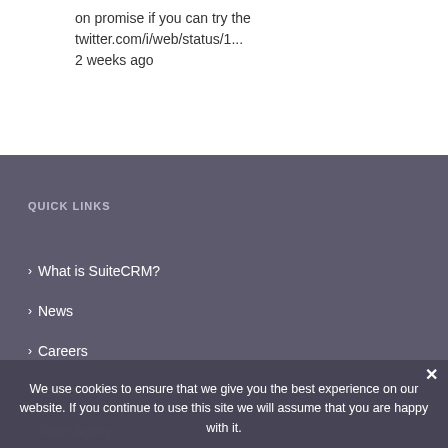on promise if you can try the twitter.com/i/web/status/1...
2 weeks ago
QUICK LINKS
What is SuiteCRM?
News
Careers
Contact Us
SalesAgility
We use cookies to ensure that we give you the best experience on our website. If you continue to use this site we will assume that you are happy with it.
OK